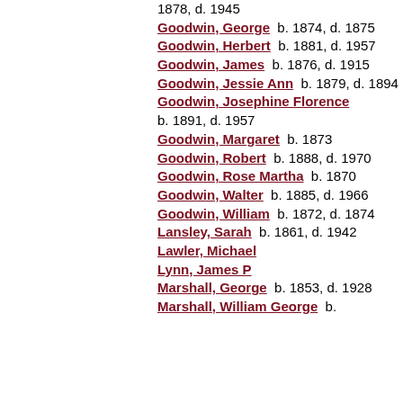1878, d. 1945
Goodwin, George  b. 1874, d. 1875
Goodwin, Herbert  b. 1881, d. 1957
Goodwin, James  b. 1876, d. 1915
Goodwin, Jessie Ann  b. 1879, d. 1894
Goodwin, Josephine Florence  b. 1891, d. 1957
Goodwin, Margaret  b. 1873
Goodwin, Robert  b. 1888, d. 1970
Goodwin, Rose Martha  b. 1870
Goodwin, Walter  b. 1885, d. 1966
Goodwin, William  b. 1872, d. 1874
Lansley, Sarah  b. 1861, d. 1942
Lawler, Michael
Lynn, James P
Marshall, George  b. 1853, d. 1928
Marshall, William George  b.